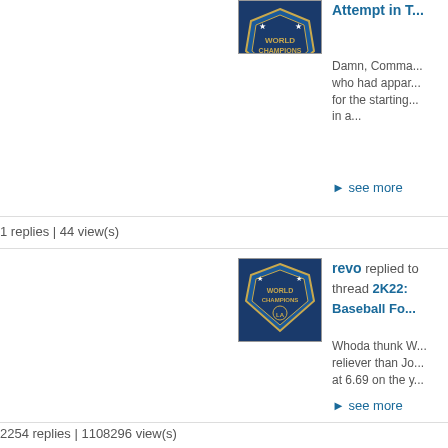[Figure (other): Dodgers avatar - World Champions shield logo (partially visible at top)]
Attempt in t...
Damn, Comma... who had appar... for the starting... in a...
▸ see more
1 replies | 44 view(s)
[Figure (other): Dodgers avatar - World Champions shield logo]
revo replied to thread 2K22: Baseball Fo...
Whoda thunk W... reliever than Jo... at 6.69 on the y...
▸ see more
2254 replies | 1108296 view(s)
[Figure (other): Dodgers avatar - World Champions shield logo]
revo replied to thread 2k22: The Baseba...
Probably only b... fuego of late.
▸ see more